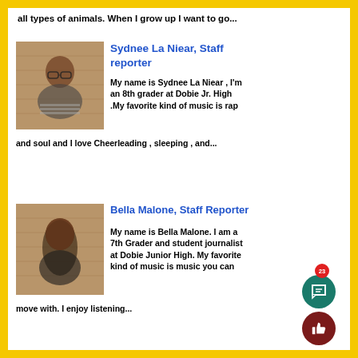all types of animals. When I grow up I want to go...
Sydnee La Niear, Staff reporter
My name is Sydnee La Niear , I'm an 8th grader at Dobie Jr. High .My favorite kind of music is rap and soul and I love Cheerleading , sleeping , and...
[Figure (photo): Photo of Sydnee La Niear, a young woman with glasses in front of a brick wall]
Bella Malone, Staff Reporter
My name is Bella Malone. I am a 7th Grader and student journalist at Dobie Junior High. My favorite kind of music is music you can move with. I enjoy listening...
[Figure (photo): Photo of Bella Malone, a young woman with long dark hair in front of a brick wall]